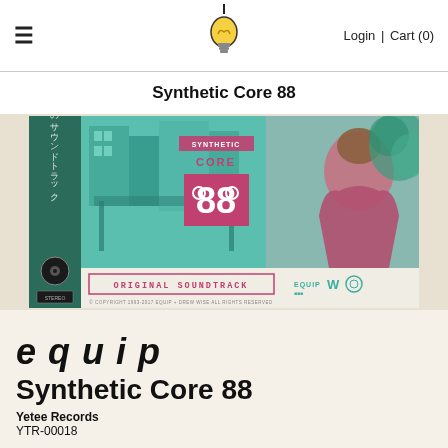≡   [Bulb Logo]   Login | Cart (0)
Synthetic Core 88
[Figure (illustration): Album artwork for Synthetic Core 88 by Equip. Shows a split illustrated image: left half features teal/cyan mechanical/architectural structures with Japanese text on spine, and the text SYNTHETIC CORE 88, ORIGINAL SOUNDTRACK, copyright notice and Equip logos; right half shows a figure in a pink/magenta jacket with illustrated foliage in teal.]
equip
Synthetic Core 88
Yetee Records
YTR-00018